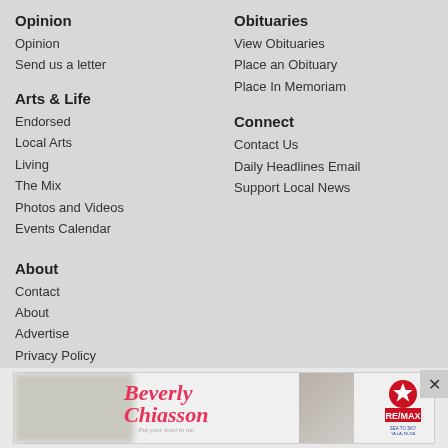Opinion
Opinion
Send us a letter
Arts & Life
Endorsed
Local Arts
Living
The Mix
Photos and Videos
Events Calendar
About
Contact
About
Advertise
Privacy Policy
Political Ads Registry
Obituaries
View Obituaries
Place an Obituary
Place In Memoriam
Connect
Contact Us
Daily Headlines Email
Support Local News
[Figure (photo): Advertisement banner featuring Beverly Chiasson, RE/MAX real estate agent, in a red blazer with script text overlay]